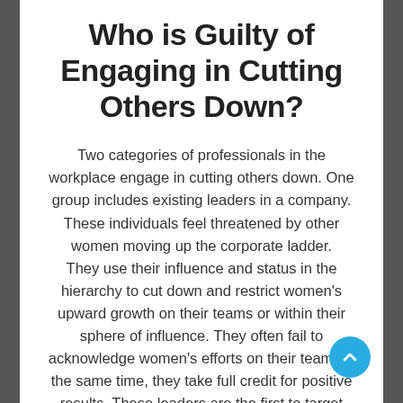Who is Guilty of Engaging in Cutting Others Down?
Two categories of professionals in the workplace engage in cutting others down. One group includes existing leaders in a company. These individuals feel threatened by other women moving up the corporate ladder. They use their influence and status in the hierarchy to cut down and restrict women's upward growth on their teams or within their sphere of influence. They often fail to acknowledge women's efforts on their team. At the same time, they take full credit for positive results. These leaders are the first to target